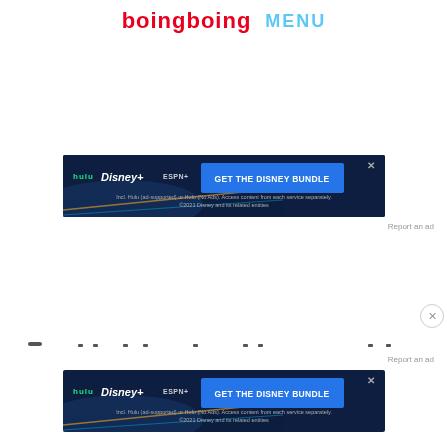boingboing MENU
[Figure (screenshot): Disney Bundle advertisement banner showing Hulu, Disney+, and ESPN+ logos with 'GET THE DISNEY BUNDLE' call-to-action button. Subtext: 'Incl. Hulu (ad-supported) or Hulu (No Ads). Access content from each service separately. ©2021 Disney and its related entities']
Report an ad
[Figure (other): Blurred/loading content placeholder with dots]
Report an ad
[Figure (screenshot): Disney Bundle advertisement banner showing Hulu, Disney+, and ESPN+ logos with 'GET THE DISNEY BUNDLE' call-to-action button. Subtext: 'Incl. Hulu (ad-supported) or Hulu (No Ads). Access content from each service separately. ©2021 Disney and its related entities']